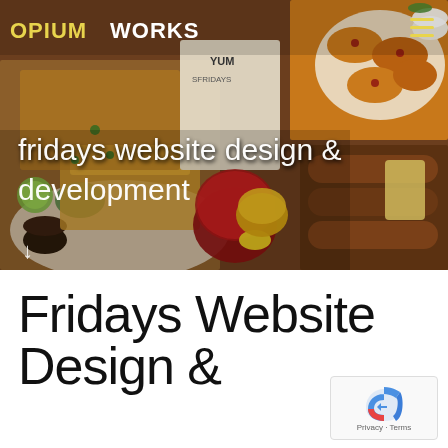[Figure (photo): Hero image of TGI Fridays food spread including tacos, potato skins, sausages, cocktails, and dipping sauces, viewed from above on a wooden table. Website navigation with Opium Works logo overlaid.]
fridays website design & development
Fridays Website Design &